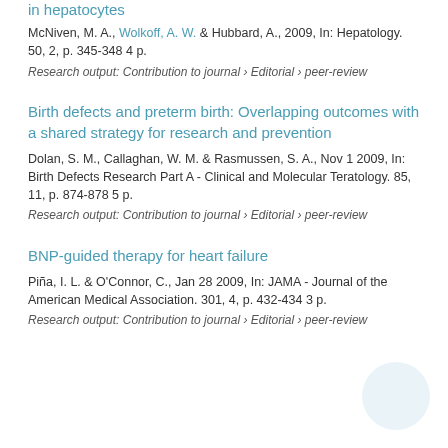in hepatocytes
McNiven, M. A., Wolkoff, A. W. & Hubbard, A., 2009, In: Hepatology. 50, 2, p. 345-348 4 p.
Research output: Contribution to journal › Editorial › peer-review
Birth defects and preterm birth: Overlapping outcomes with a shared strategy for research and prevention
Dolan, S. M., Callaghan, W. M. & Rasmussen, S. A., Nov 1 2009, In: Birth Defects Research Part A - Clinical and Molecular Teratology. 85, 11, p. 874-878 5 p.
Research output: Contribution to journal › Editorial › peer-review
BNP-guided therapy for heart failure
Piña, I. L. & O'Connor, C., Jan 28 2009, In: JAMA - Journal of the American Medical Association. 301, 4, p. 432-434 3 p.
Research output: Contribution to journal › Editorial › peer-review